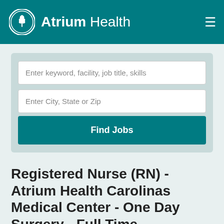Atrium Health
Enter keyword, facility, job title, skills
Enter City, State or Zip
Find Jobs
Registered Nurse (RN) - Atrium Health Carolinas Medical Center - One Day Surgery - Full Time
Charlotte, NC, United States